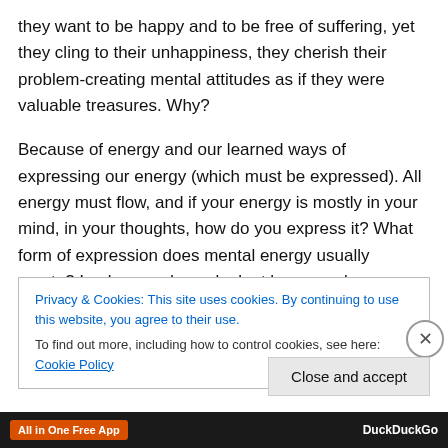they want to be happy and to be free of suffering, yet they cling to their unhappiness, they cherish their problem-creating mental attitudes as if they were valuable treasures. Why?
Because of energy and our learned ways of expressing our energy (which must be expressed). All energy must flow, and if your energy is mostly in your mind, in your thoughts, how do you express it? What form of expression does mental energy usually create? Look around you, look at how people are generally relating to eachother and you
Privacy & Cookies: This site uses cookies. By continuing to use this website, you agree to their use.
To find out more, including how to control cookies, see here: Cookie Policy
Close and accept
All in One Free App   DuckDuckGo